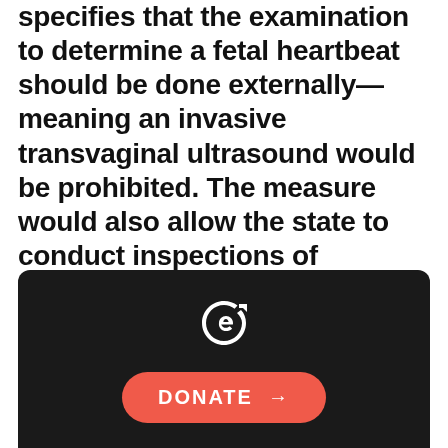specifies that the examination to determine a fetal heartbeat should be done externally—meaning an invasive transvaginal ultrasound would be prohibited. The measure would also allow the state to conduct inspections of abortion facilities to make sure physicians are complying with reporting requirements. West Virginia is the tenth state this year (after Florida, Kentucky, Maryland, Minnesota, Mississippi, Missouri, South Carolina, Tennessee, and Texas) to introduce a “heapbeat ban.”
[Figure (logo): Dark banner with a circular logo icon and a red DONATE button with arrow]